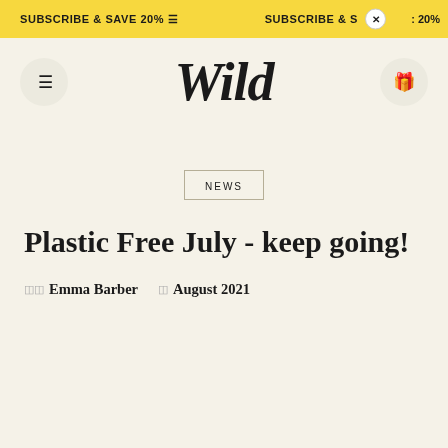SUBSCRIBE & SAVE 20%  SUBSCRIBE & S 20%
[Figure (logo): Wild brand logo in large serif italic font, centered in navigation bar with hamburger menu left and cart icon right]
NEWS
Plastic Free July - keep going!
Emma Barber  August 2021